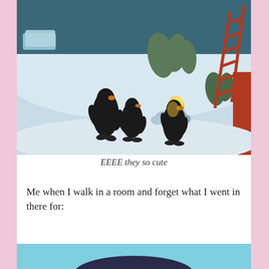[Figure (illustration): Animated/illustrated scene showing three penguins on a snowy landscape. Two black penguins are on the left, one appears to be bowing or leaning toward a third penguin that has yellow/orange coloring around its head. There are snow-covered rocks, stylized grass/seaweed, a red ladder, and a dark teal sky in the background.]
EEEE they so cute
Me when I walk in a room and forget what I went in there for:
[Figure (illustration): Partial view of an illustrated scene with a light blue/teal background, showing what appears to be the top of a dark animal (possibly a whale or large creature) at the bottom of the frame.]